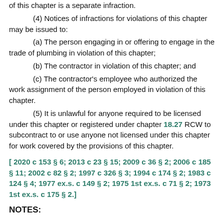of this chapter is a separate infraction.
(4) Notices of infractions for violations of this chapter may be issued to:
(a) The person engaging in or offering to engage in the trade of plumbing in violation of this chapter;
(b) The contractor in violation of this chapter; and
(c) The contractor's employee who authorized the work assignment of the person employed in violation of this chapter.
(5) It is unlawful for anyone required to be licensed under this chapter or registered under chapter 18.27 RCW to subcontract to or use anyone not licensed under this chapter for work covered by the provisions of this chapter.
[ 2020 c 153 § 6; 2013 c 23 § 15; 2009 c 36 § 2; 2006 c 185 § 11; 2002 c 82 § 2; 1997 c 326 § 3; 1994 c 174 § 2; 1983 c 124 § 4; 1977 ex.s. c 149 § 2; 1975 1st ex.s. c 71 § 2; 1973 1st ex.s. c 175 § 2.]
NOTES: